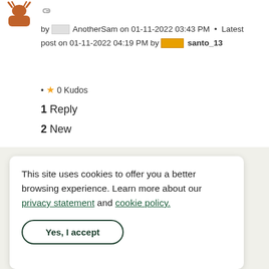[Figure (illustration): Forum post avatar icon (decorative bird/person icon in brown/orange)]
by [rank badge] AnotherSam on 01-11-2022 03:43 PM  •  Latest post on 01-11-2022 04:19 PM by [rank badge] santo_13
★ 0 Kudos
1 Reply
2 New
This site uses cookies to offer you a better browsing experience. Learn more about our privacy statement and cookie policy.
Yes, I accept